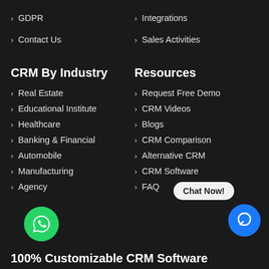GDPR
Integrations
Contact Us
Sales Activities
CRM By Industry
Resources
Real Estate
Request Free Demo
Educational Institute
CRM Videos
Healthcare
Blogs
Banking & Financial
CRM Comparison
Automobile
Alternative CRM
Manufacturing
CRM Software
Agency
FAQ
100% Customizable CRM Software